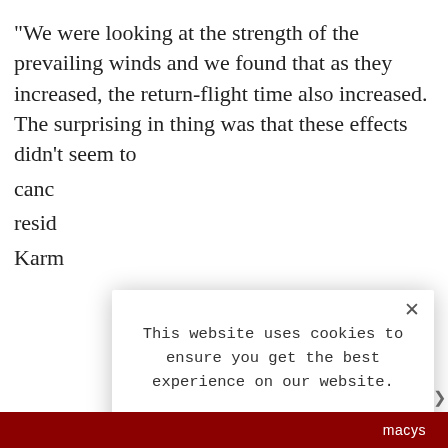“We were looking at the strength of the prevailing winds and we found that as they increased, the return-flight time also increased. The surprising in thing was that these effects didn’t seem to canc resid Karr
“Mul day, adds char
The incre
[Figure (screenshot): Cookie consent modal dialog overlaying article text. Modal contains message: 'This website uses cookies to ensure you get the best experience on our website.' with a 'LEARN MORE.' link and an 'ACCEPT COOKIES' button. A close (X) button appears in the top-right. Background shows partial article text.]